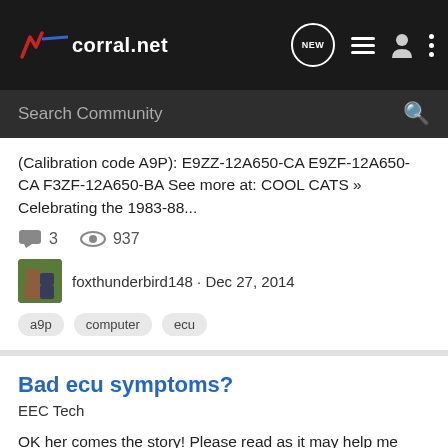corral.net — navigation bar with NEW, list, user, and menu icons
Search Community
(Calibration code A9P): E9ZZ-12A650-CA E9ZF-12A650-CA F3ZF-12A650-BA See more at: COOL CATS » Celebrating the 1983-88...
3  937
foxthunderbird148 · Dec 27, 2014
a9p  computer  ecu
Bad ecu symptoms?
EEC Tech
OK her comes the story! Please read as it may help me diagnose. FROM THE TOP!!! 92 fox 5.0 A9P ecu with bama chip Keep in mind no ECU/check codes ever come up throughout this entire process of trouble shooting. I scanned